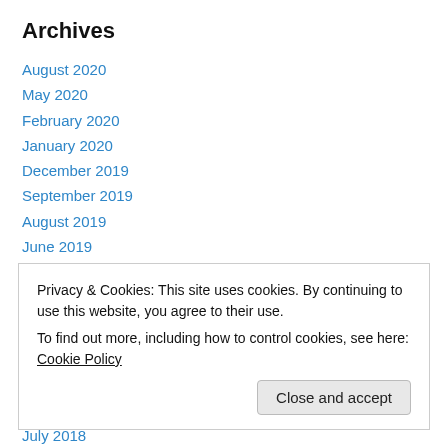Archives
August 2020
May 2020
February 2020
January 2020
December 2019
September 2019
August 2019
June 2019
May 2019
April 2019
March 2019
February 2019
Privacy & Cookies: This site uses cookies. By continuing to use this website, you agree to their use.
To find out more, including how to control cookies, see here: Cookie Policy
July 2018